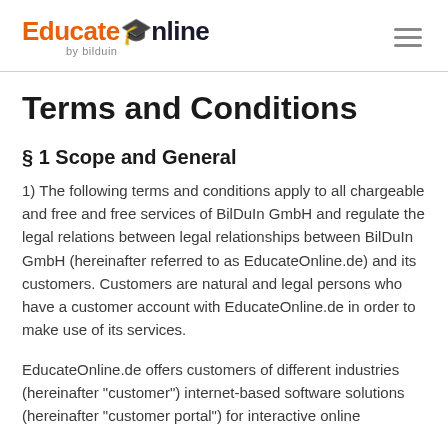EducateOnline by bilduin
Terms and Conditions
§ 1 Scope and General
1) The following terms and conditions apply to all chargeable and free and free services of BilDuIn GmbH and regulate the legal relations between legal relationships between BilDuIn GmbH (hereinafter referred to as EducateOnline.de) and its customers. Customers are natural and legal persons who have a customer account with EducateOnline.de in order to make use of its services.
EducateOnline.de offers customers of different industries (hereinafter "customer") internet-based software solutions (hereinafter "customer portal") for interactive online